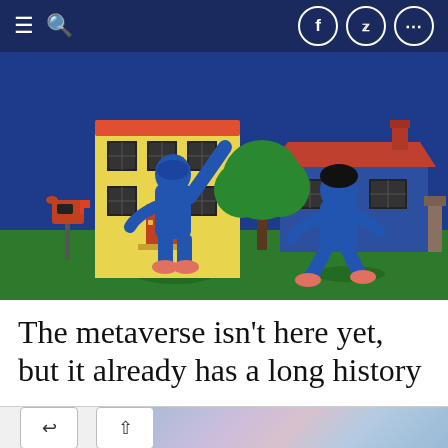≡ 🔍  [facebook] [twitter] [more]
[Figure (illustration): Retro cartoon-style illustration on a dark blue background. A yellow two-story building with red roof and red door on the left, with a red mailbox in front. A blue cartoon character stands in the center raising one hand. On the right, a blue house with red roof, a green tree, and a second blue cartoon character walking. Green ground/lawn in the foreground.]
The metaverse isn't here yet, but it already has a long history
[Figure (photo): Partially visible photograph of what appears to be a circuit board or colorful electronic component with blurred bokeh background, visible in the bottom right of the page.]